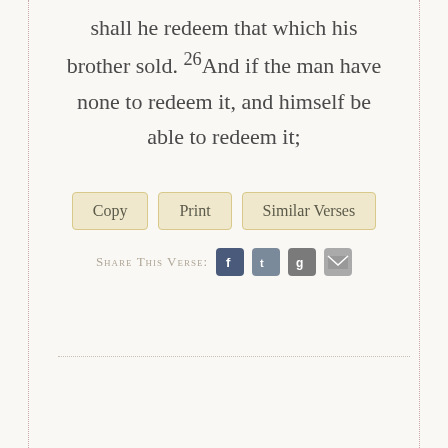shall he redeem that which his brother sold. 26And if the man have none to redeem it, and himself be able to redeem it;
Copy | Print | Similar Verses
Share This Verse: [Facebook] [Twitter] [Google+] [Email]